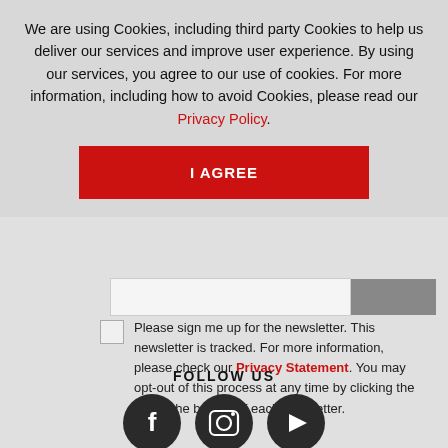We are using Cookies, including third party Cookies to help us deliver our services and improve user experience. By using our services, you agree to our use of cookies. For more information, including how to avoid Cookies, please read our Privacy Policy.
I AGREE
Please sign me up for the newsletter. This newsletter is tracked. For more information, please check our Privacy Statement. You may opt-out of this process at any time by clicking the link at the bottom of each newsletter.
FOLLOW US
[Figure (illustration): Three social media icons in dark circles: Facebook (f), Instagram (camera), YouTube (play button)]